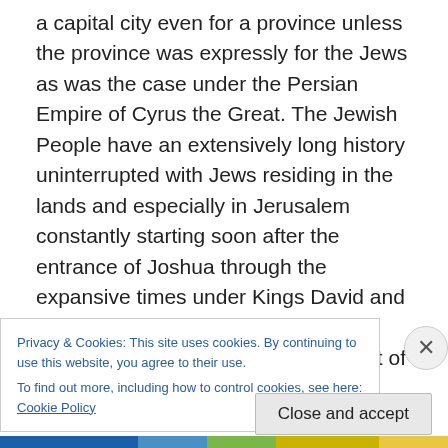a capital city even for a province unless the province was expressly for the Jews as was the case under the Persian Empire of Cyrus the Great. The Jewish People have an extensively long history uninterrupted with Jews residing in the lands and especially in Jerusalem constantly starting soon after the entrance of Joshua through the expansive times under Kings David and Solomon through the First Temple Period, their Babylonian exile of most of the population and their subsequent return and building of the Second Temple and expanding the Temple Mount and the remainder of their history through to the modern period.
Privacy & Cookies: This site uses cookies. By continuing to use this website, you agree to their use.
To find out more, including how to control cookies, see here: Cookie Policy
Close and accept